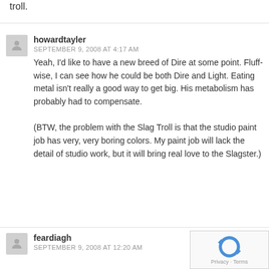troll.
howardtayler
SEPTEMBER 9, 2008 AT 4:17 AM
Yeah, I'd like to have a new breed of Dire at some point. Fluff-wise, I can see how he could be both Dire and Light. Eating metal isn't really a good way to get big. His metabolism has probably had to compensate.

(BTW, the problem with the Slag Troll is that the studio paint job has very, very boring colors. My paint job will lack the detail of studio work, but it will bring real love to the Slagster.)
feardiagh
SEPTEMBER 9, 2008 AT 12:20 AM